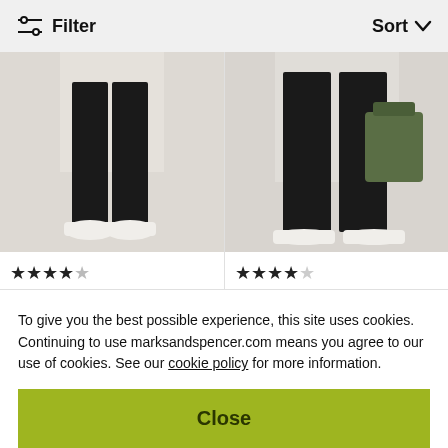Filter   Sort
[Figure (photo): Lower body of model wearing black wide-leg trousers and white sneakers, holding a green structured bag, light background]
[Figure (photo): Lower body of model wearing black slim trousers and white sneakers on a light background]
★★★★☆ M&S COLLECTION Cotton Rich Printed fitted T-Shirt MDL 240.00
★★★★☆ M&S COLLECTION Jersey V-Neck Short Sleeve Popover Blouse MDL 625.00
To give you the best possible experience, this site uses cookies. Continuing to use marksandspencer.com means you agree to our use of cookies. See our cookie policy for more information.
Close